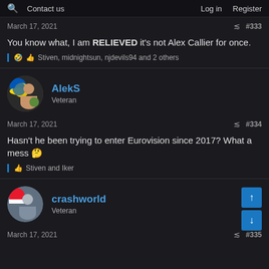Q  Contact us  Log in  Register
March 17, 2021  #333
You know what, I am RELIEVED it's not Alex Callier for once.
🤣👍 Stiven, midnightsun, njdevils94 and 2 others
AlekS  Veteran
March 17, 2021  #334
Hasn't he been trying to enter Eurovision since 2017? What a mess 🤔
👍 Stiven and Iker
crashworld  Veteran
March 17, 2021  #335